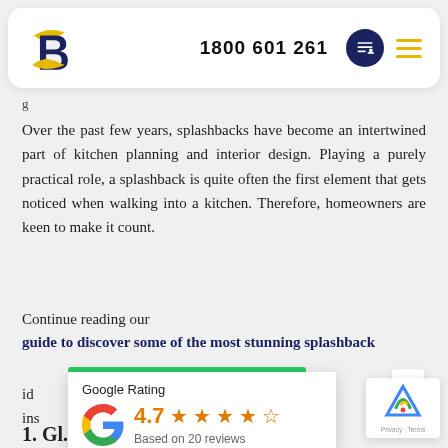[Figure (logo): Company logo with stylized B in yellow/navy and navbar with phone number 1800 601 261]
g...
Over the past few years, splashbacks have become an intertwined part of kitchen planning and interior design. Playing a purely practical role, a splashback is quite often the first element that gets noticed when walking into a kitchen. Therefore, homeowners are keen to make it count.
Continue reading our guide to discover some of the most stunning splashback ideas... even though we only inspire many options.
[Figure (infographic): Google Rating card showing 4.7 stars based on 20 reviews]
[Figure (other): reCAPTCHA badge bottom right with Privacy - Terms text]
1. Gl... (partial section heading at bottom)